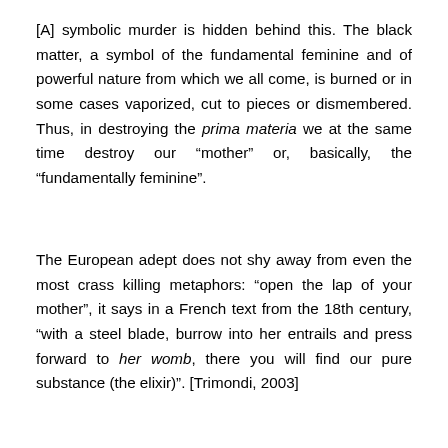[A] symbolic murder is hidden behind this. The black matter, a symbol of the fundamental feminine and of powerful nature from which we all come, is burned or in some cases vaporized, cut to pieces or dismembered. Thus, in destroying the prima materia we at the same time destroy our “mother” or, basically, the “fundamentally feminine”.
The European adept does not shy away from even the most crass killing metaphors: “open the lap of your mother”, it says in a French text from the 18th century, “with a steel blade, burrow into her entrails and press forward to her womb, there you will find our pure substance (the elixir)”. [Trimondi, 2003]